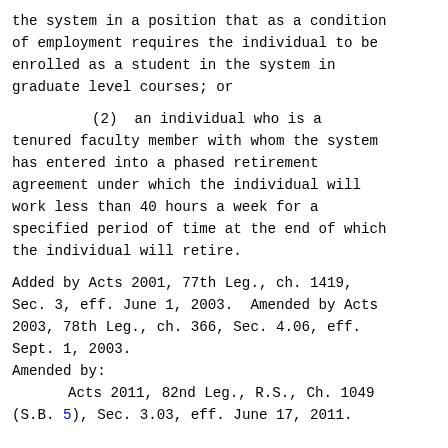the system in a position that as a condition of employment requires the individual to be enrolled as a student in the system in graduate level courses; or
(2)  an individual who is a tenured faculty member with whom the system has entered into a phased retirement agreement under which the individual will work less than 40 hours a week for a specified period of time at the end of which the individual will retire.
Added by Acts 2001, 77th Leg., ch. 1419, Sec. 3, eff. June 1, 2003.  Amended by Acts 2003, 78th Leg., ch. 366, Sec. 4.06, eff. Sept. 1, 2003. Amended by: Acts 2011, 82nd Leg., R.S., Ch. 1049 (S.B. 5), Sec. 3.03, eff. June 17, 2011.